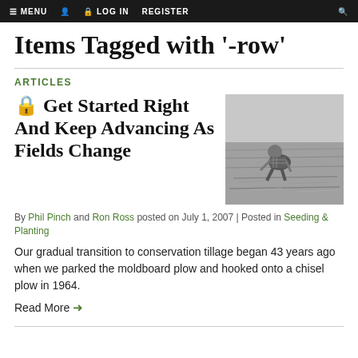MENU | LOG IN | REGISTER
Items Tagged with '-row'
ARTICLES
Get Started Right And Keep Advancing As Fields Change
[Figure (photo): Black and white photo of a person kneeling in a field examining soil or crops]
By Phil Pinch and Ron Ross posted on July 1, 2007 | Posted in Seeding & Planting
Our gradual transition to conservation tillage began 43 years ago when we parked the moldboard plow and hooked onto a chisel plow in 1964.
Read More →